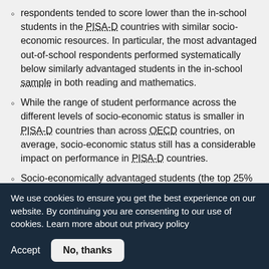respondents tended to score lower than the in-school students in the PISA-D countries with similar socio-economic resources. In particular, the most advantaged out-of-school respondents performed systematically below similarly advantaged students in the in-school sample in both reading and mathematics.
While the range of student performance across the different levels of socio-economic status is smaller in PISA-D countries than across OECD countries, on average, socio-economic status still has a considerable impact on performance in PISA-D countries.
Socio-economically advantaged students (the top 25% in the index) across PISA-D countries were five times more likely than disadvantaged students (the bottom 25% in the index), on average, to attain the minimum level of proficiency (Level 2) in mathematics. Very few disadvantaged students
We use cookies to ensure you get the best experience on our website. By continuing you are consenting to our use of cookies. Learn more about out privacy policy